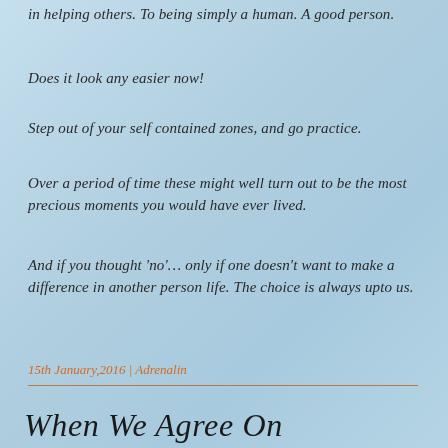in helping others. To being simply a human. A good person.
Does it look any easier now!
Step out of your self contained zones, and go practice.
Over a period of time these might well turn out to be the most precious moments you would have ever lived.
And if you thought 'no'… only if one doesn't want to make a difference in another person life. The choice is always upto us.
15th January,2016 | Adrenalin
When We Agree On